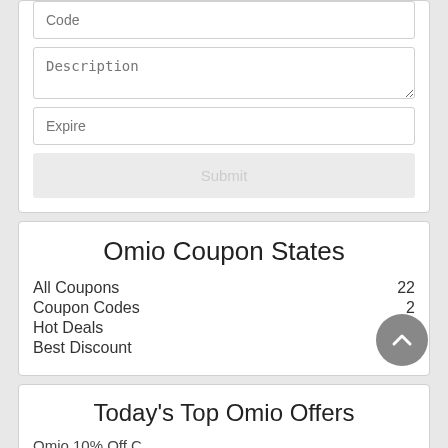Code
Description
Expire
Submit
Omio Coupon States
All Coupons   22
Coupon Codes   2
Hot Deals   20
Best Discount   50%
Today's Top Omio Offers
Omio 10% Off C...